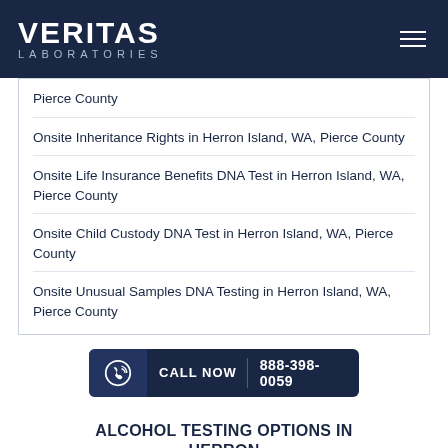[Figure (logo): Veritas Laboratories logo in white text on dark navy background, with hamburger menu icon on the right]
Pierce County
Onsite Inheritance Rights in Herron Island, WA, Pierce County
Onsite Life Insurance Benefits DNA Test in Herron Island, WA, Pierce County
Onsite Child Custody DNA Test in Herron Island, WA, Pierce County
Onsite Unusual Samples DNA Testing in Herron Island, WA, Pierce County
CALL NOW  888-398-0059
ALCOHOL TESTING OPTIONS IN HERRON ISLAND, WA, PIERCE COUNTY
Onsite Urine Alcohol Test in Herron Island, WA, Pierce County